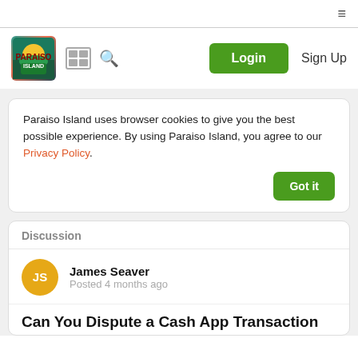≡
[Figure (logo): Paraiso Island game logo with colorful tropical scene]
Login  Sign Up
Paraiso Island uses browser cookies to give you the best possible experience. By using Paraiso Island, you agree to our Privacy Policy.
Discussion
James Seaver
Posted 4 months ago
Can You Dispute a Cash App Transaction